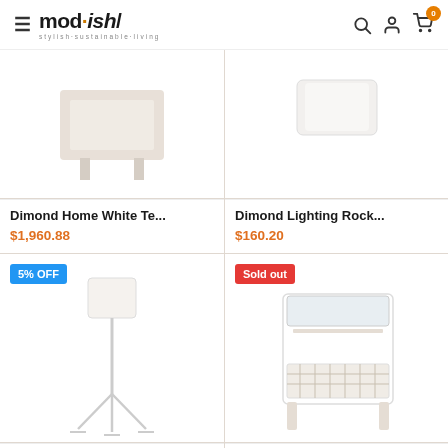mod·ish/ stylish·sustainable·living
[Figure (photo): Dimond Home White Te... product image]
Dimond Home White Te...
$1,960.88
[Figure (photo): Dimond Lighting Rock... product image with white drum shade]
Dimond Lighting Rock...
$160.20
[Figure (photo): Dimond Lighting Crom... floor lamp product image with 5% OFF badge]
Dimond Lighting Crom...
$376.20
[Figure (photo): Stein World Nantuc... side table product image with Sold out badge]
Stein World Nantuc...
$614.37
Chat Now